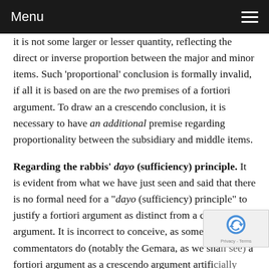Menu
it is not some larger or lesser quantity, reflecting the direct or inverse proportion between the major and minor items. Such 'proportional' conclusion is formally invalid, if all it is based on are the two premises of a fortiori argument. To draw an a crescendo conclusion, it is necessary to have an additional premise regarding proportionality between the subsidiary and middle items.
Regarding the rabbis' dayo (sufficiency) principle. It is evident from what we have just seen and said that there is no formal need for a "dayo (sufficiency) principle" to justify a fortiori argument as distinct from a crescendo argument. It is incorrect to conceive, as some commentators do (notably the Gemara, as we shall see) a fortiori argument as a crescendo argument artificially circumvented by the dayo principle; for this would imply that the conclusion drawn from the two premises of a